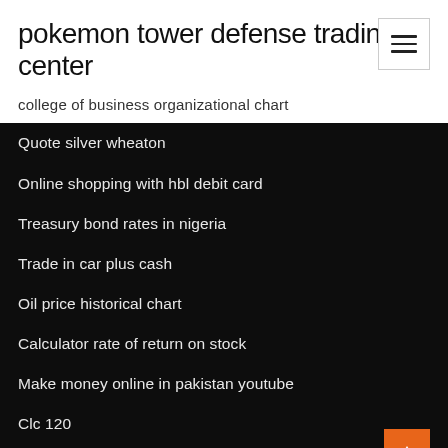pokemon tower defense trading center
college of business organizational chart
Quote silver wheaton
Online shopping with hbl debit card
Treasury bond rates in nigeria
Trade in car plus cash
Oil price historical chart
Calculator rate of return on stock
Make money online in pakistan youtube
Clc 120
Silver miners nyse